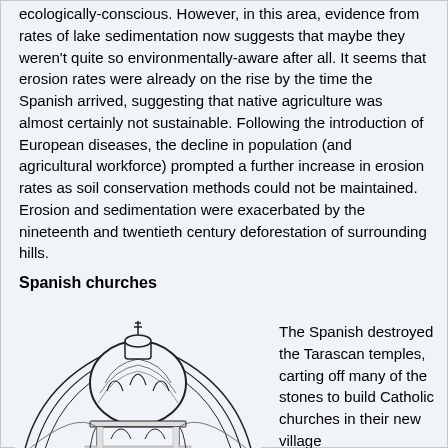ecologically-conscious. However, in this area, evidence from rates of lake sedimentation now suggests that maybe they weren't quite so environmentally-aware after all. It seems that erosion rates were already on the rise by the time the Spanish arrived, suggesting that native agriculture was almost certainly not sustainable. Following the introduction of European diseases, the decline in population (and agricultural workforce) prompted a further increase in erosion rates as soil conservation methods could not be maintained. Erosion and sedimentation were exacerbated by the nineteenth and twentieth century deforestation of surrounding hills.
Spanish churches
[Figure (illustration): Black and white architectural sketch of a Spanish colonial church dome with arched windows and ornate details]
The Spanish destroyed the Tarascan temples, carting off many of the stones to build Catholic churches in their new village